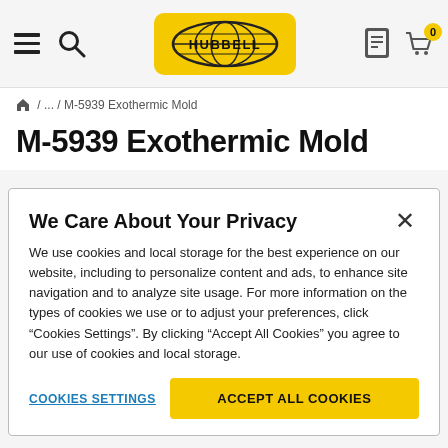Hubbell website header with hamburger menu, search, Hubbell logo, document icon, and cart with 0 items
/ ... / M-5939 Exothermic Mold
M-5939 Exothermic Mold
We Care About Your Privacy
We use cookies and local storage for the best experience on our website, including to personalize content and ads, to enhance site navigation and to analyze site usage. For more information on the types of cookies we use or to adjust your preferences, click “Cookies Settings”. By clicking “Accept All Cookies” you agree to our use of cookies and local storage.
COOKIES SETTINGS
ACCEPT ALL COOKIES